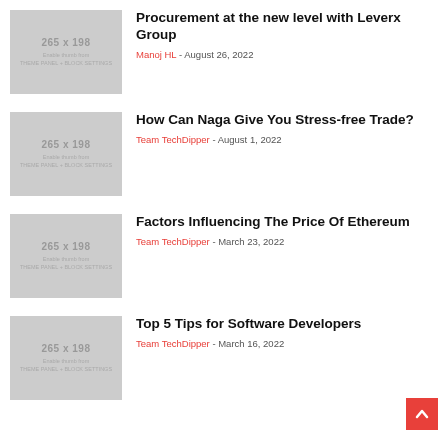[Figure (illustration): Gray placeholder thumbnail 265x198, text: Enable thumb from THEME PANEL + BLOCK SETTINGS]
Procurement at the new level with Leverx Group
Manoj HL - August 26, 2022
[Figure (illustration): Gray placeholder thumbnail 265x198, text: Enable thumb from THEME PANEL + BLOCK SETTINGS]
How Can Naga Give You Stress-free Trade?
Team TechDipper - August 1, 2022
[Figure (illustration): Gray placeholder thumbnail 265x198, text: Enable thumb from THEME PANEL + BLOCK SETTINGS]
Factors Influencing The Price Of Ethereum
Team TechDipper - March 23, 2022
[Figure (illustration): Gray placeholder thumbnail 265x198, text: Enable thumb from THEME PANEL + BLOCK SETTINGS]
Top 5 Tips for Software Developers
Team TechDipper - March 16, 2022